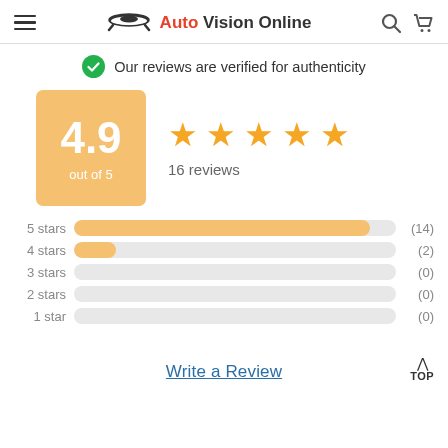Auto Vision Online
Our reviews are verified for authenticity
[Figure (infographic): Rating summary: 4.9 out of 5 with 4 stars shown and 16 reviews]
[Figure (bar-chart): Star rating distribution]
Write a Review